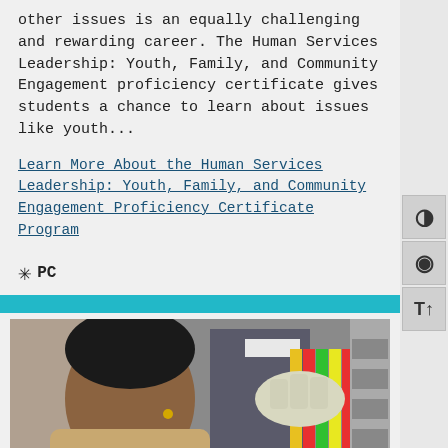other issues is an equally challenging and rewarding career. The Human Services Leadership: Youth, Family, and Community Engagement proficiency certificate gives students a chance to learn about issues like youth...
Learn More About the Human Services Leadership: Youth, Family, and Community Engagement Proficiency Certificate Program
✳ PC
[Figure (photo): A woman wearing a white glove working with colorful cables and electronic equipment in a lab setting]
Individualized Studies